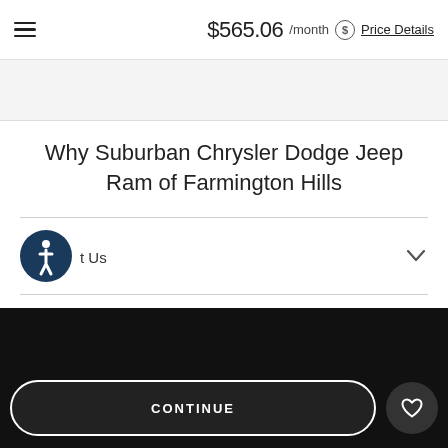$565.06 /month Price Details
Why Suburban Chrysler Dodge Jeep Ram of Farmington Hills
t Us
Get upfront pricing and savings for every model.
CONTINUE